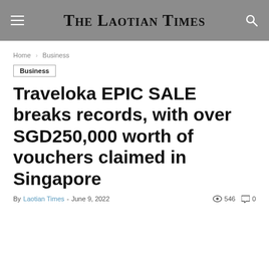The Laotian Times
Home › Business
Business
Traveloka EPIC SALE breaks records, with over SGD250,000 worth of vouchers claimed in Singapore
By Laotian Times - June 9, 2022   546   0